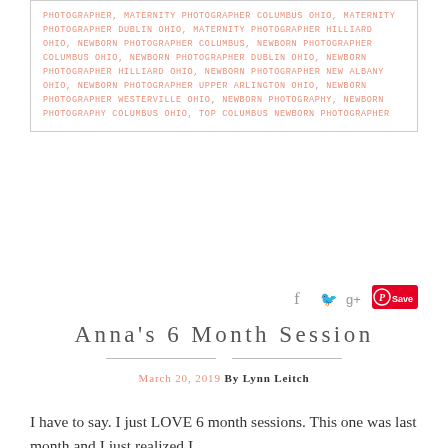PHOTOGRAPHER, MATERNITY PHOTOGRAPHER COLUMBUS OHIO, MATERNITY PHOTOGRAPHER DUBLIN OHIO, MATERNITY PHOTOGRAPHER HILLIARD OHIO, NEWBORN PHOTOGRAPHER COLUMBUS, NEWBORN PHOTOGRAPHER COLUMBUS OHIO, NEWBORN PHOTOGRAPHER DUBLIN OHIO, NEWBORN PHOTOGRAPHER HILLIARD OHIO, NEWBORN PHOTOGRAPHER NEW ALBANY OHIO, NEWBORN PHOTOGRAPHER UPPER ARLINGTON OHIO, NEWBORN PHOTOGRAPHER WESTERVILLE OHIO, NEWBORN PHOTOGRAPHY, NEWBORN PHOTOGRAPHY COLUMBUS OHIO, TOP COLUMBUS NEWBORN PHOTOGRAPHER
[Figure (other): Social sharing icons: Facebook, Twitter, Google+, and Pinterest Save button]
Anna's 6 Month Session
March 20, 2019 By Lynn Leitch
I have to say. I just LOVE 6 month sessions. This one was last month and I just realized I